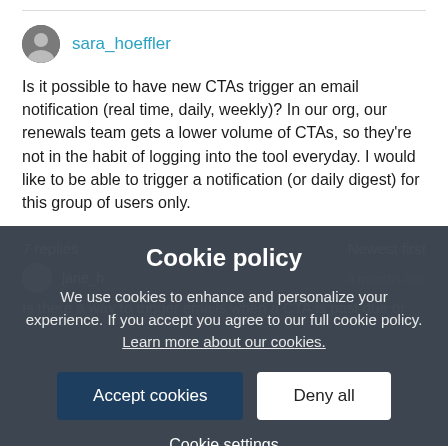sara_hoeffler
Is it possible to have new CTAs trigger an email notification (real time, daily, weekly)?  In our org, our renewals team gets a lower volume of CTAs, so they're not in the habit of logging into the tool everyday.  I would like to be able to trigger a notification (or daily digest) for this group of users only.
7 replies
Newest first
jane_h
Is there a way to trigger emails when a CTA is past due or
Cookie policy
We use cookies to enhance and personalize your experience. If you accept you agree to our full cookie policy. Learn more about our cookies.
Accept cookies
Deny all
Cookie settings